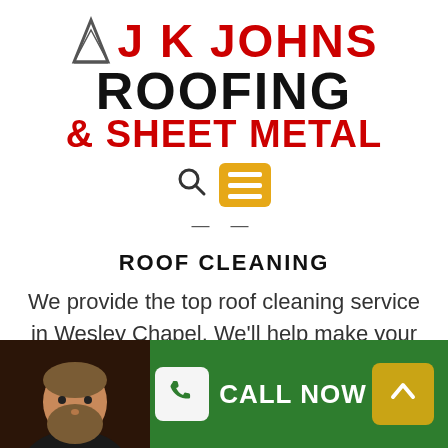[Figure (logo): JK Johns Roofing & Sheet Metal logo with red and black text and a small triangular icon]
[Figure (infographic): Search icon (magnifying glass) and orange/yellow hamburger menu button]
— —
ROOF CLEANING
We provide the top roof cleaning service in Wesley Chapel. We'll help make your roof look new once more!
[Figure (photo): Photo of a bearded man in a dark shirt against a dark background, in the bottom-left corner]
[Figure (infographic): Green footer bar with phone icon button, CALL NOW text, and gold up-arrow button]